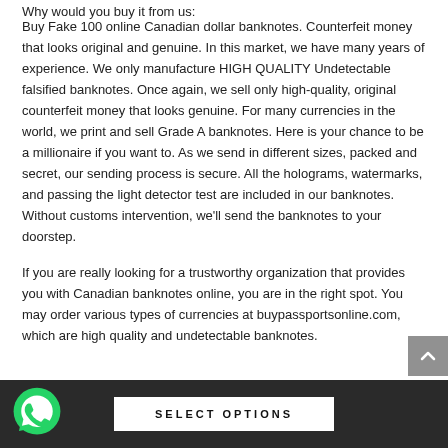Why would you buy it from us:
Buy Fake 100 online Canadian dollar banknotes. Counterfeit money that looks original and genuine. In this market, we have many years of experience. We only manufacture HIGH QUALITY Undetectable falsified banknotes. Once again, we sell only high-quality, original counterfeit money that looks genuine. For many currencies in the world, we print and sell Grade A banknotes. Here is your chance to be a millionaire if you want to. As we send in different sizes, packed and secret, our sending process is secure. All the holograms, watermarks, and passing the light detector test are included in our banknotes. Without customs intervention, we'll send the banknotes to your doorstep.
If you are really looking for a trustworthy organization that provides you with Canadian banknotes online, you are in the right spot. You may order various types of currencies at buypassportsonline.com, which are high quality and undetectable banknotes.
SELECT OPTIONS